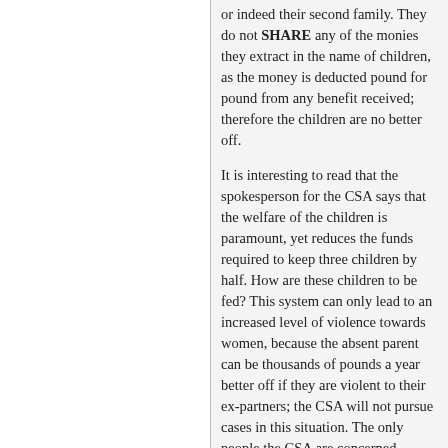or indeed their second family. They do not SHARE any of the monies they extract in the name of children, as the money is deducted pound for pound from any benefit received; therefore the children are no better off.
It is interesting to read that the spokesperson for the CSA says that the welfare of the children is paramount, yet reduces the funds required to keep three children by half. How are these children to be fed? This system can only lead to an increased level of violence towards women, because the absent parent can be thousands of pounds a year better off if they are violent to their ex-partners; the CSA will not pursue cases in this situation. The only people the CSA are concerned